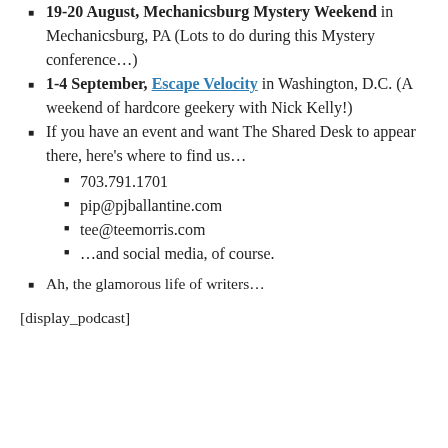19-20 August, Mechanicsburg Mystery Weekend in Mechanicsburg, PA (Lots to do during this Mystery conference…)
1-4 September, Escape Velocity in Washington, D.C. (A weekend of hardcore geekery with Nick Kelly!)
If you have an event and want The Shared Desk to appear there, here's where to find us…
703.791.1701
pip@pjballantine.com
tee@teemorris.com
…and social media, of course.
Ah, the glamorous life of writers…
[display_podcast]